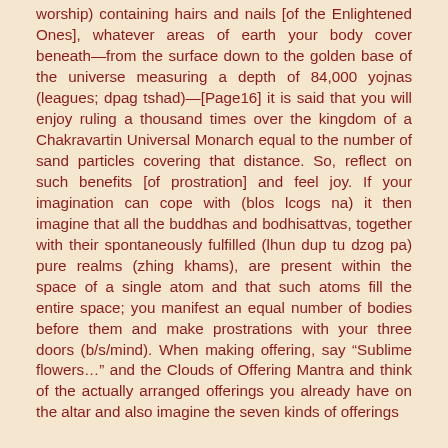worship) containing hairs and nails [of the Enlightened Ones], whatever areas of earth your body cover beneath—from the surface down to the golden base of the universe measuring a depth of 84,000 yojnas (leagues; dpag tshad)—[Page16] it is said that you will enjoy ruling a thousand times over the kingdom of a Chakravartin Universal Monarch equal to the number of sand particles covering that distance. So, reflect on such benefits [of prostration] and feel joy. If your imagination can cope with (blos lcogs na) it then imagine that all the buddhas and bodhisattvas, together with their spontaneously fulfilled (lhun dup tu dzog pa) pure realms (zhing khams), are present within the space of a single atom and that such atoms fill the entire space; you manifest an equal number of bodies before them and make prostrations with your three doors (b/s/mind). When making offering, say “Sublime flowers…” and the Clouds of Offering Mantra and think of the actually arranged offerings you already have on the altar and also imagine the seven kinds of offerings